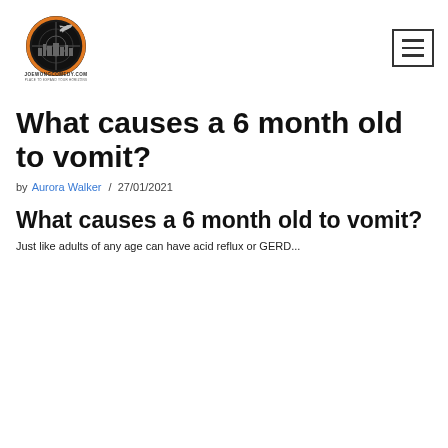[Figure (logo): joewongcomedy.com logo — circular emblem with city skyline and plane, text below reading JOEWONGCOMEDY.COM PLACE TO EXPAND YOUR HORIZONS]
What causes a 6 month old to vomit?
by Aurora Walker / 27/01/2021
What causes a 6 month old to vomit?
Just like adults of any age can have acid reflux or GERD...